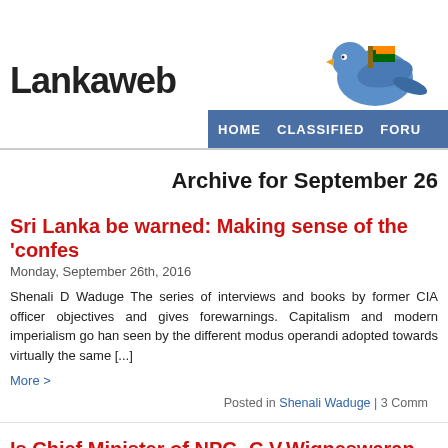[Figure (logo): Lankaweb logo with bird and Sri Lanka flag graphic]
HOME   CLASSIFIED   FORU
Archive for September 26
Sri Lanka be warned: Making sense of the 'confes
Monday, September 26th, 2016
Shenali D Waduge The series of interviews and books by former CIA officer objectives and gives forewarnings. Capitalism and modern imperialism go han seen by the different modus operandi adopted towards virtually the same [...]
More >
Posted in Shenali Waduge | 3 Comm
Is Chief Minister of NPC- C.V.Wigneswaran prepa Racial Riot, to call for foreign intervention?
Monday, September 26th, 2016